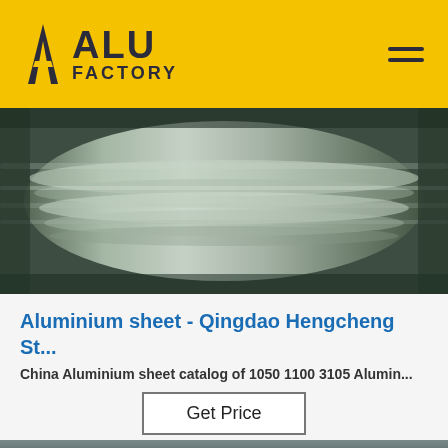[Figure (logo): ALU FACTORY logo with geometric A icon on yellow header bar]
[Figure (photo): Close-up photo of shiny aluminum coil rolls in a warehouse setting]
Aluminium sheet - Qingdao Hengcheng St...
China Aluminium sheet catalog of 1050 1100 3105 Alumin...
Get Price
[Figure (photo): Photo of aluminum sheets with reflective surface; TOP badge logo visible in upper right corner]